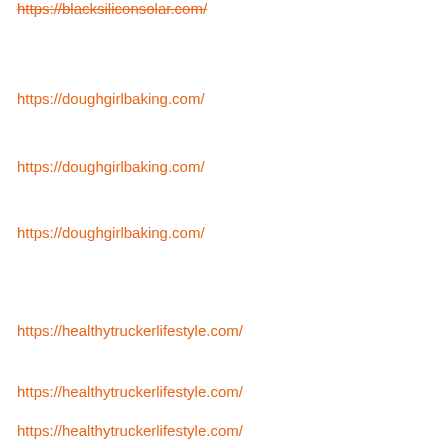https://blacksiliconsolar.com/
https://doughgirlbaking.com/
https://doughgirlbaking.com/
https://doughgirlbaking.com/
https://healthytruckerlifestyle.com/
https://healthytruckerlifestyle.com/
https://healthytruckerlifestyle.com/